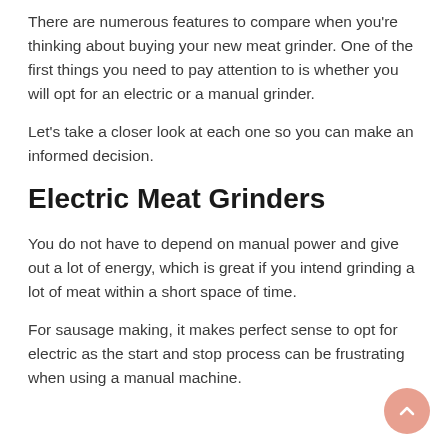There are numerous features to compare when you're thinking about buying your new meat grinder. One of the first things you need to pay attention to is whether you will opt for an electric or a manual grinder.
Let's take a closer look at each one so you can make an informed decision.
Electric Meat Grinders
You do not have to depend on manual power and give out a lot of energy, which is great if you intend grinding a lot of meat within a short space of time.
For sausage making, it makes perfect sense to opt for electric as the start and stop process can be frustrating when using a manual machine.